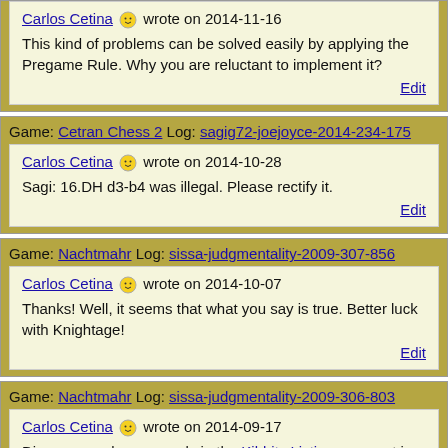Carlos Cetina wrote on 2014-11-16
This kind of problems can be solved easily by applying the Pregame Rule. Why you are reluctant to implement it?
Edit
Game: Cetran Chess 2 Log: sagig72-joejoyce-2014-234-175
Carlos Cetina wrote on 2014-10-28
Sagi: 16.DH d3-b4 was illegal. Please rectify it.
Edit
Game: Nachtmahr Log: sissa-judgmentality-2009-307-856
Carlos Cetina wrote on 2014-10-07
Thanks! Well, it seems that what you say is true. Better luck with Knightage!
Edit
Game: Nachtmahr Log: sissa-judgmentality-2009-306-803
Carlos Cetina wrote on 2014-09-17
Diagram can be seen only in the Kibbitz Listing page not in the log game.